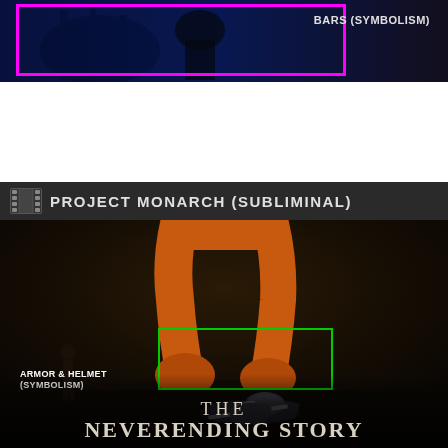[Figure (screenshot): Dark cinematic still with a magenta/pink rectangle highlight box drawn over a figure behind bars. Label reads 'BARS (SYMBOLISM)' in the top right area of the image.]
[Figure (screenshot): Movie screenshot from 'The NeverEnding Story' with a film-strip header bar reading 'PROJECT MONARCH (SUBLIMINAL)'. Scene shows a small child figure standing before a large orange creature. A green rectangle highlights scattered armor and helmet on the ground. Labels: 'ARMOR & HELMET (SYMBOLISM)'. Movie title 'THE NEVERENDING STORY' displayed at bottom in stylized text.]